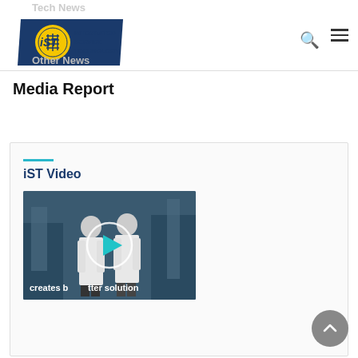Tech News
[Figure (logo): iST Integrated Service Technology logo with blue parallelogram shape and yellow circle with circuit pattern]
Other News
Media Report
iST Video
[Figure (screenshot): Video thumbnail showing two people in lab coats in a laboratory setting with a play button overlay and text 'creates better solution']